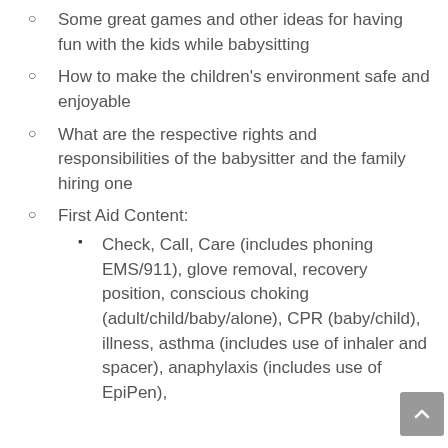Some great games and other ideas for having fun with the kids while babysitting
How to make the children's environment safe and enjoyable
What are the respective rights and responsibilities of the babysitter and the family hiring one
First Aid Content:
Check, Call, Care (includes phoning EMS/911), glove removal, recovery position, conscious choking (adult/child/baby/alone), CPR (baby/child), illness, asthma (includes use of inhaler and spacer), anaphylaxis (includes use of EpiPen),